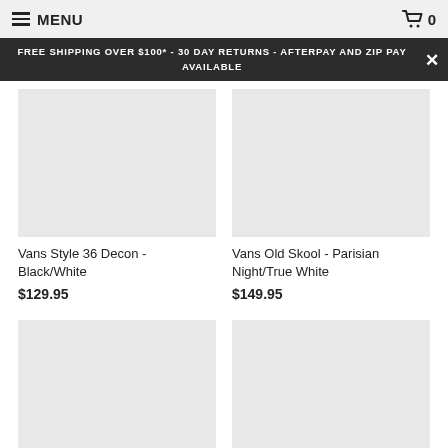MENU  0
FREE SHIPPING OVER $100* - 30 DAY RETURNS - AFTERPAY AND ZIP PAY AVAILABLE
Vans Style 36 Decon - Black/White
$129.95
Vans Old Skool - Parisian Night/True White
$149.95
Vans Authentic - True White
$109.95
Vans SK8-Hi - True White
$139.95